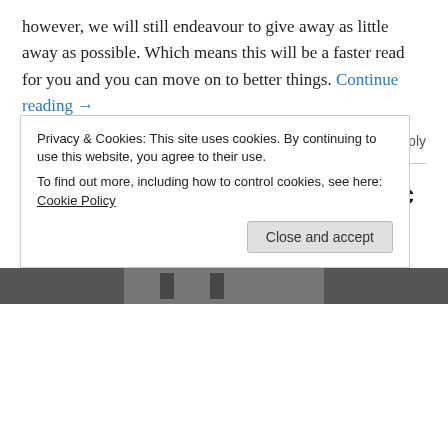however, we will still endeavour to give away as little away as possible. Which means this will be a faster read for you and you can move on to better things. Continue reading →
Friday 27 July 2018    Leave a Reply
Review – The Trial, Young Vic
[Figure (photo): Promotional image for Franz Kafka's The Trial at the Young Vic theatre, showing stylized text on a dark background]
Privacy & Cookies: This site uses cookies. By continuing to use this website, you agree to their use.
To find out more, including how to control cookies, see here: Cookie Policy
[Close and accept button]